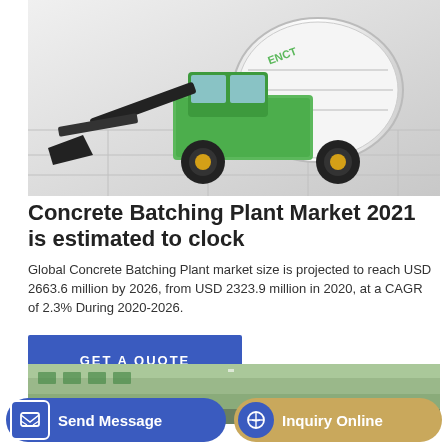[Figure (photo): Green concrete batching plant / self-loading concrete mixer truck on a light grey tiled floor background]
Concrete Batching Plant Market 2021 is estimated to clock
Global Concrete Batching Plant market size is projected to reach USD 2663.6 million by 2026, from USD 2323.9 million in 2020, at a CAGR of 2.3% During 2020-2026.
GET A QUOTE
[Figure (photo): Partial view of a building exterior with green foliage]
Send Message
Inquiry Online